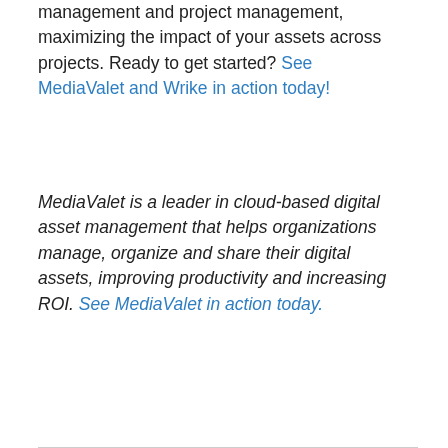management and project management, maximizing the impact of your assets across projects. Ready to get started? See MediaValet and Wrike in action today!
MediaValet is a leader in cloud-based digital asset management that helps organizations manage, organize and share their digital assets, improving productivity and increasing ROI. See MediaValet in action today.